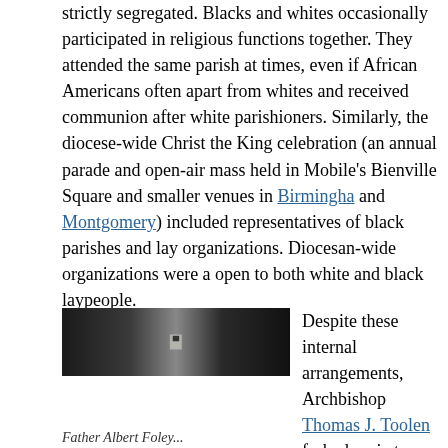strictly segregated. Blacks and whites occasionally participated in religious functions together. They attended the same parish at times, even if African Americans often apart from whites and received communion after white parishioners. Similarly, the diocese-wide Christ the King celebration (an annual parade and open-air mass held in Mobile's Bienville Square and smaller venues in Birmingham and Montgomery) included representatives of black parishes and lay organizations. Diocesan-wide organizations were also open to both white and black laypeople.
[Figure (photo): A dark, low-quality photograph, likely showing Father Albert Foley.]
Despite these internal arrangements, Archbishop Thomas J. Toolen forbade priests to challenge publicly the state's segregation laws or participate in demonstrations. They were instructed to work within the law and not force confrontations that would agitate the state's white population. This curtailed the
Father Albert Foley...